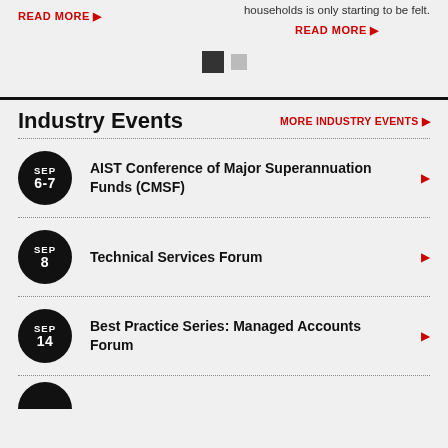READ MORE ▶
households is only starting to be felt.
READ MORE ▶
[Figure (other): Slider navigation dots: one active (black square with border) and one inactive (grey square)]
Industry Events
MORE INDUSTRY EVENTS ▶
SEP 6-7 — AIST Conference of Major Superannuation Funds (CMSF)
SEP 8 — Technical Services Forum
SEP 14 — Best Practice Series: Managed Accounts Forum